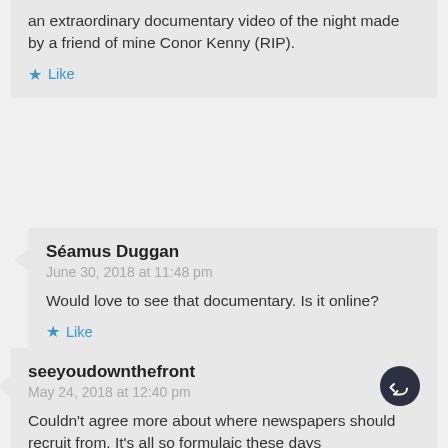an extraordinary documentary video of the night made by a friend of mine Conor Kenny (RIP).
Like
Séamus Duggan
June 30, 2018 at 11:48 pm
Would love to see that documentary. Is it online?
Like
seeyoudownthefront
May 24, 2018 at 12:40 pm
Couldn't agree more about where newspapers should recruit from. It's all so formulaic these days